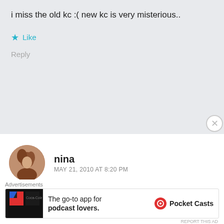i miss the old kc :( new kc is very misterious..
★ Like
Reply
nina
MAY 21, 2010 AT 8:20 PM
I think it's Fitz vs. Riley, Fitz at the dunk tank, and Drew kissing Alli. The guy kissing Alli has softer features than the guy in the first two parts. It'd help if there was more variety among the characters, though!
[Figure (photo): User avatar photo of nina - woman with reddish hair]
Advertisements
[Figure (infographic): Pocket Casts advertisement - The go-to app for podcast lovers]